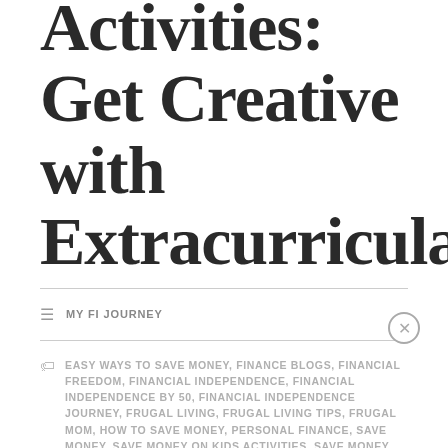Activities: Get Creative with Extracurricular
MY FI JOURNEY
EASY WAYS TO SAVE MONEY, FINANCE BLOGS, FINANCIAL FREEDOM, FINANCIAL INDEPENDENCE, FINANCIAL INDEPENDENCE BY 50, FINANCIAL INDEPENDENCE JOURNEY, FRUGAL LIVING, FRUGAL LIVING TIPS, FRUGAL MOM, HOW TO SAVE MONEY, PERSONAL FINANCE, SAVE MONEY, SAVE MONEY ON KIDS ACTIVITIES, SAVE MONEY ON KIDS SPORTS, SEEKING FINANCIAL INDEPENDENCE WITH CHILDREN, WAYS TO SAVE MONEY
Advertisements
[Figure (other): Advertisement banner for Linear app showing logo and slogan: Fewer meetings, more work.]